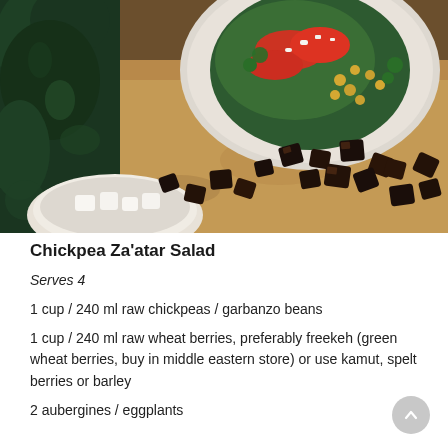[Figure (photo): Overhead food photo showing a bowl of chickpea za'atar salad with tomatoes, herbs, and feta on a brown parchment surface with roasted eggplant cubes, fresh parsley, and a small bowl of feta cheese.]
Chickpea Za'atar Salad
Serves 4
1 cup / 240 ml raw chickpeas / garbanzo beans
1 cup / 240 ml raw wheat berries, preferably freekeh (green wheat berries, buy in middle eastern store) or use kamut, spelt berries or barley
2 aubergines / eggplants